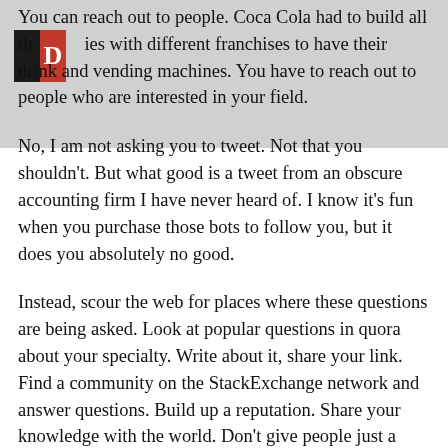You can reach out to people. Coca Cola had to build all the ties with different franchises to have their drink and vending machines. You have to reach out to people who are interested in your field.
No, I am not asking you to tweet. Not that you shouldn't. But what good is a tweet from an obscure accounting firm I have never heard of. I know it's fun when you purchase those bots to follow you, but it does you absolutely no good.
Instead, scour the web for places where these questions are being asked. Look at popular questions in quora about your specialty. Write about it, share your link. Find a community on the StackExchange network and answer questions. Build up a reputation. Share your knowledge with the world. Don't give people just a snippet, give intricate details. Work it like you are working with a real